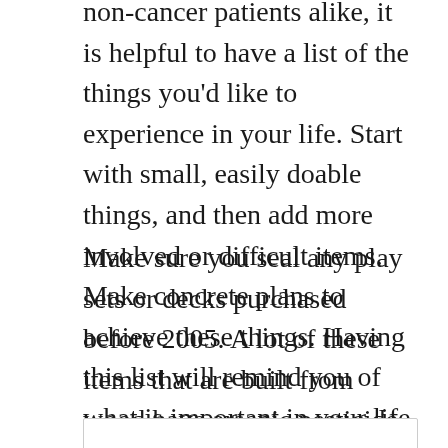non-cancer patients alike, it is helpful to have a list of the things you'd like to experience in your life. Start with small, easily doable things, and then add more involved or difficult items. Make concrete plans to achieve these things. Having this list will remind you of what is important in your life and give you things to look forward to each day.
Make sure you seal any play sets or decks purchased before 2005. A lot of these items that are built from wood have arsenic pesticide in them. When you seal these up you can minimize exposure to potential cancer-causing agents.